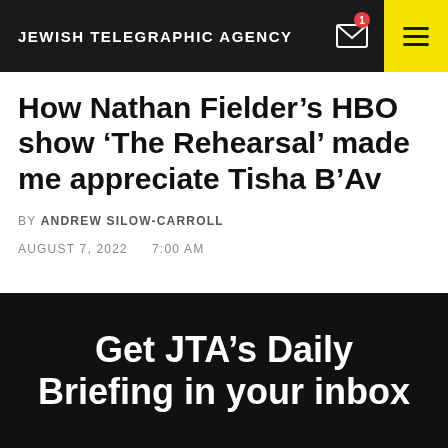JEWISH TELEGRAPHIC AGENCY
How Nathan Fielder’s HBO show ‘The Rehearsal’ made me appreciate Tisha B’Av
BY ANDREW SILOW-CARROLL
AUGUST 7, 2022   7:00 AM
Get JTA’s Daily Briefing in your inbox